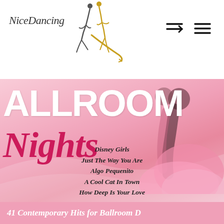[Figure (logo): NiceDancing logo with stylized dancer silhouette and italic text]
[Figure (photo): Ballroom Nights album cover showing dancing couple, pink feathered dress, with tracklist including Disney Girls, Just The Way You Are, Algo Pequenito, A Cool Cat In Town, How Deep Is Your Love, and tagline '41 Contemporary Hits for Ballroom']